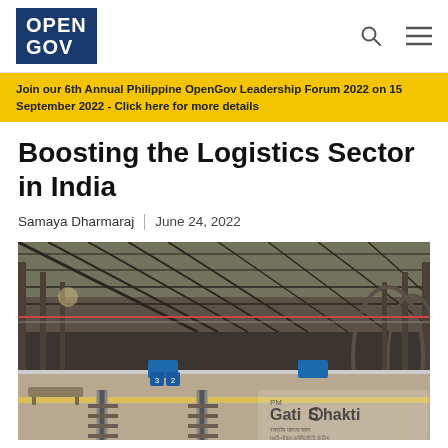OPEN GOV
Join our 6th Annual Philippine OpenGov Leadership Forum 2022 on 15 September 2022 - Click here for more details
Boosting the Logistics Sector in India
Samaya Dharmaraj | June 24, 2022
[Figure (photo): Interior of a large railway station with multiple tracks, platforms, high arched steel and glass roof structure, and a PM GatiShakti watermark in the lower right corner.]